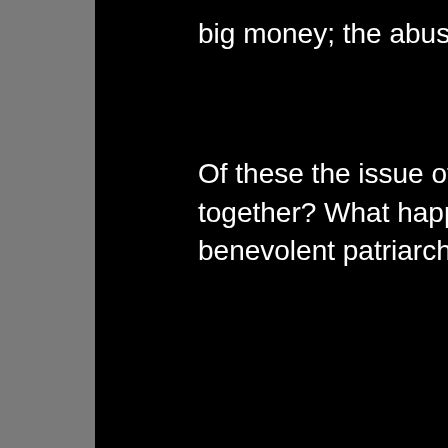big money; the abuse of the underprivileged, be
Of these the issue of crimes against women is th together? What happens when a woman tries to benevolent patriarchy?
Parents would also find this novel fascinating: ho How much do you know of your teenager's life? and what sort of support can you expect?
It is a whodunnit, but also a whydunnit, because the very fabric of society, and we get a glimpse o
The narrative of the book was researched and s